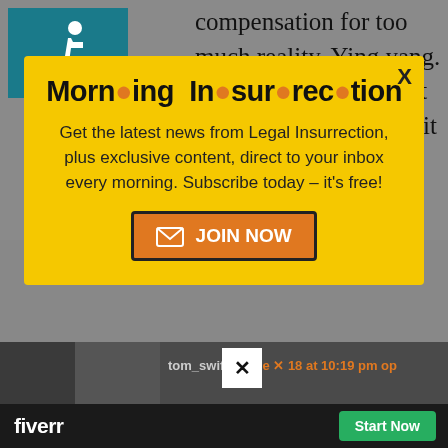compensation for too much reality. Ying yang. You should experiment with it, I've found that it
[Figure (infographic): Yellow popup modal newsletter signup for Morning Insurrection from Legal Insurrection, with orange JOIN NOW button]
tom_swift | June [date] at 10:19 pm
[Figure (logo): Fiverr logo on dark background with green Start Now button]
it's not far-fetched to imagine him telling a